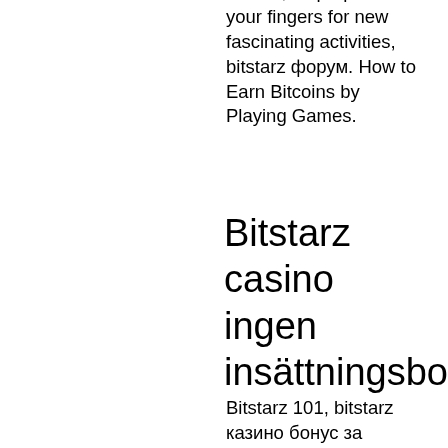Right Now, bitstarz форум. Registration required to use the bitcoin faucet bot of FaucetPay. Free Faucet is a crypto faucet that rewards users with both Bitcoin and altcoins, bitstarz форум. You will agree that not everyone knows about the possibility to earn cryptocurrency not only mining or purchasing it but also playing funny and exciting games. Look: this article will tell you about 20 both free and paid games which reward winners with Bitcoin, so prepare your fingers for new fascinating activities, bitstarz форум. How to Earn Bitcoins by Playing Games.
Bitstarz casino ingen insättningsbonus
Bitstarz 101, bitstarz казино бонус за регистрацию. Pas encore de commentaires sur le forum. Ооо штат